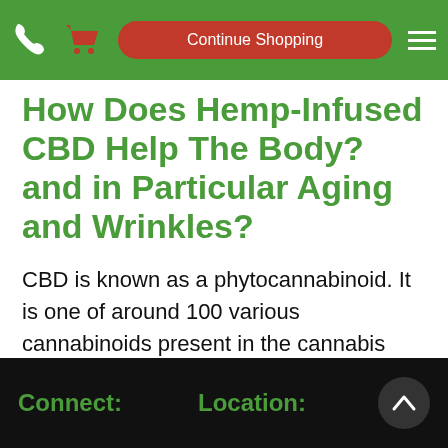Continue Shopping
How Does Hemp-Infused CBD Help The Body? and in Particular Aging and Wrinkles?
CBD is known as a phytocannabinoid. It is one of around 100 various cannabinoids present in the cannabis plant. The body naturally produces its own ...see more
Connect:   Location: